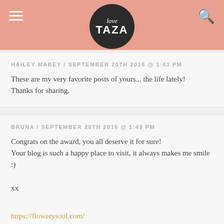Love Taza — blog header with navigation
HAILEY MABEY / SEPTEMBER 20TH 2016 @ 1:43 PM
These are my very favorite posts of yours... the life lately!
Thanks for sharing.
BRUNA / SEPTEMBER 20TH 2016 @ 1:49 PM
Congrats on the award, you all deserve it for sure!
Your blog is such a happy place to visit, it always makes me smile :)

xx

https://flowerysoul.com/
PAULINE / SEPTEMBER 20TH 2016 @ 2:20 PM
Dear Naomi,